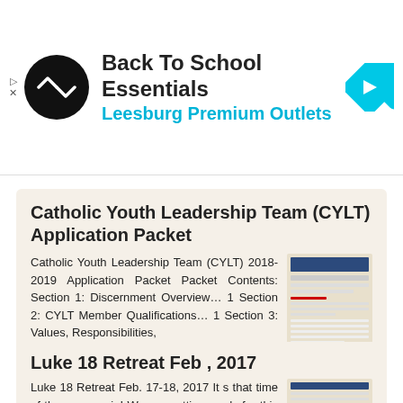[Figure (screenshot): Ad banner: Back To School Essentials at Leesburg Premium Outlets with logo and navigation icon]
Catholic Youth Leadership Team (CYLT) Application Packet
Catholic Youth Leadership Team (CYLT) 2018-2019 Application Packet Packet Contents: Section 1: Discernment Overview... 1 Section 2: CYLT Member Qualifications... 1 Section 3: Values, Responsibilities,
More information →
Luke 18 Retreat Feb , 2017
Luke 18 Retreat Feb. 17-18, 2017 It s that time of the year again! We are getting ready for this year s Luke 18 Retreat!! And we are searching for high school teens that are alive